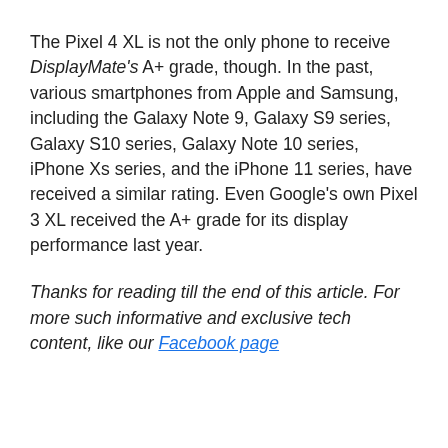The Pixel 4 XL is not the only phone to receive DisplayMate's A+ grade, though. In the past, various smartphones from Apple and Samsung, including the Galaxy Note 9, Galaxy S9 series, Galaxy S10 series, Galaxy Note 10 series, iPhone Xs series, and the iPhone 11 series, have received a similar rating. Even Google's own Pixel 3 XL received the A+ grade for its display performance last year.
Thanks for reading till the end of this article. For more such informative and exclusive tech content, like our Facebook page